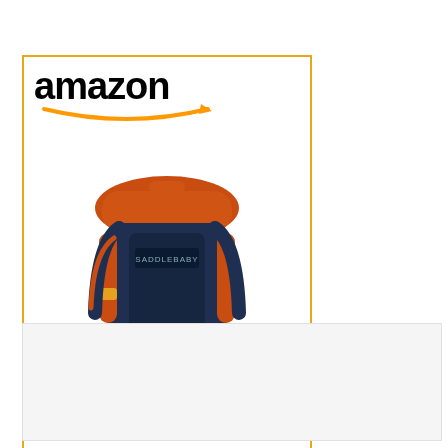[Figure (screenshot): Amazon advertisement banner showing an orange and navy blue Saddlebaby shoulder carrier backpack with Amazon logo at top, product name 'Saddlebaby Shoulder...' in blue text, and a 'Shop now' button with Amazon 'a' logo on a gold/yellow background at the bottom. The ad has a gold border.]
[Figure (other): Empty light gray rectangular box below the Amazon advertisement, likely an ad placeholder or content area.]